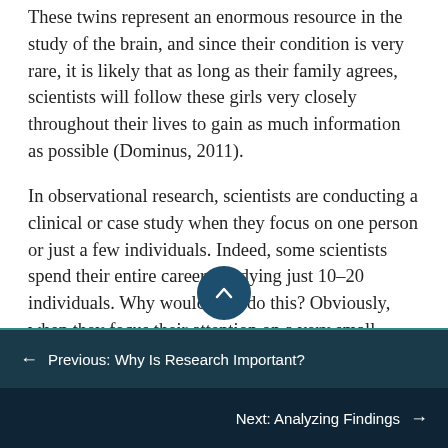These twins represent an enormous resource in the study of the brain, and since their condition is very rare, it is likely that as long as their family agrees, scientists will follow these girls very closely throughout their lives to gain as much information as possible (Dominus, 2011).
In observational research, scientists are conducting a clinical or case study when they focus on one person or just a few individuals. Indeed, some scientists spend their entire careers studying just 10–20 individuals. Why would they do this? Obviously, when they focus their attention on a very small number of
← Previous: Why Is Research Important?
Next: Analyzing Findings →